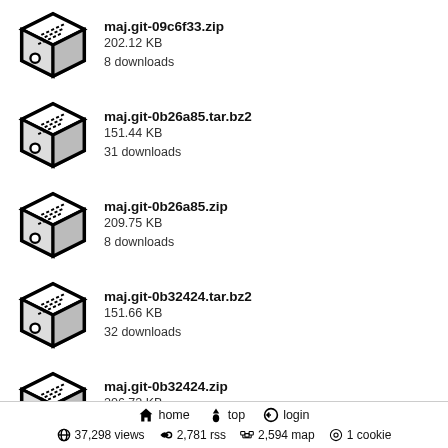maj.git-09c6f33.zip
202.12 KB
8 downloads
maj.git-0b26a85.tar.bz2
151.44 KB
31 downloads
maj.git-0b26a85.zip
209.75 KB
8 downloads
maj.git-0b32424.tar.bz2
151.66 KB
32 downloads
maj.git-0b32424.zip
206.72 KB
7 downloads
maj.git-0f3ac59.tar.bz2
152.14 KB
32 downloads
home  top  login  |  37,298 views  2,781 rss  2,594 map  1 cookie